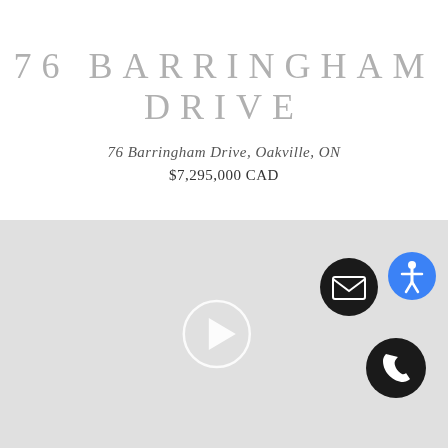76 BARRINGHAM DRIVE
76 Barringham Drive, Oakville, ON
$7,295,000 CAD
[Figure (screenshot): Gray video player area with a white circular play button in the center, an email icon button (dark circle with envelope), a blue accessibility icon button, and a phone icon button (dark circle with phone handset) on the right side.]